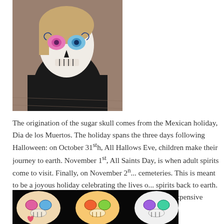[Figure (photo): Overhead view of a child wearing a sugar skull face paint costume with colorful eye designs, wearing a black outfit, standing on a wood floor]
The origination of the sugar skull comes from the Mexican holiday, Dia de los Muertos. The holiday spans the three days following Halloween: on October 31st, All Hallows Eve, children make their journey to earth. November 1st, All Saints Day, is when adult spirits come to visit. Finally, on November 2nd, families visit and clean up their loved ones' cemeteries. This is meant to be a joyous holiday celebrating the lives of those who have passed on and to welcome those spirits back to earth. Sugar was actually used to make skulls originally as an alternative to the more expensive metals.
[Figure (photo): Close-up photo of decorated sugar skulls on a dark background, showing colorful painted designs]